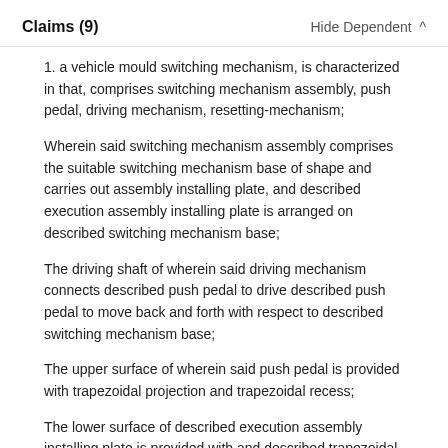Claims (9)    Hide Dependent ^
1. a vehicle mould switching mechanism, is characterized in that, comprises switching mechanism assembly, push pedal, driving mechanism, resetting-mechanism;
Wherein said switching mechanism assembly comprises the suitable switching mechanism base of shape and carries out assembly installing plate, and described execution assembly installing plate is arranged on described switching mechanism base;
The driving shaft of wherein said driving mechanism connects described push pedal to drive described push pedal to move back and forth with respect to described switching mechanism base;
The upper surface of wherein said push pedal is provided with trapezoidal projection and trapezoidal recess;
The lower surface of described execution assembly installing plate is provided with and described trapezoidal projection and the suitable trapezoidal projection of top trapezoidal recess and top of trapezoidal recess shape; Described in the time of initial position,